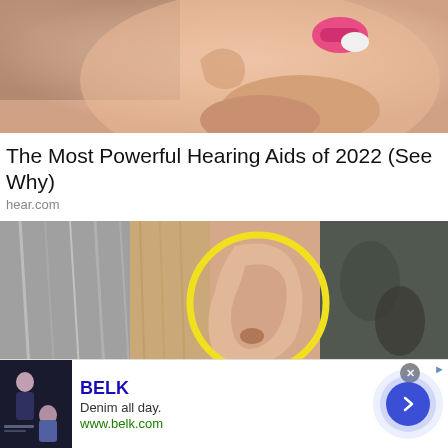[Figure (photo): Close-up photo of a person inserting or adjusting a hearing aid in their ear, with pink/white device visible]
The Most Powerful Hearing Aids of 2022 (See Why)
hear.com
[Figure (photo): Image of a human ear with a yellow circle highlight, split against a grey-toned background with hair visible]
[Figure (photo): Advertisement banner for BELK department store showing denim clothing with a carousel arrow button]